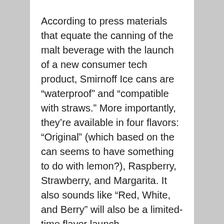According to press materials that equate the canning of the malt beverage with the launch of a new consumer tech product, Smirnoff Ice cans are “waterproof” and “compatible with straws.” More importantly, they’re available in four flavors: “Original” (which based on the can seems to have something to do with lemon?), Raspberry, Strawberry, and Margarita. It also sounds like “Red, White, and Berry” will also be a limited-time flavor launch.
The repackaging of Smirnoff Ice comes at a time when interest in beer alternatives like spiked seltzer and (now-divisive) aperol